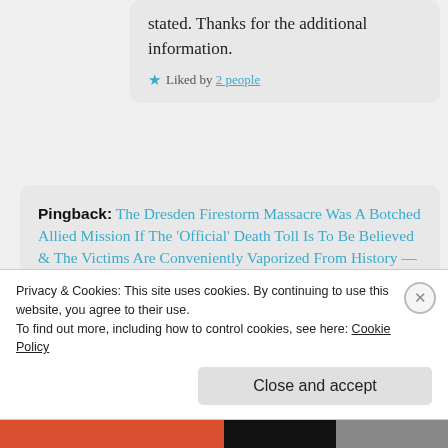stated. Thanks for the additional information.
★ Liked by 2 people
Pingback: The Dresden Firestorm Massacre Was A Botched Allied Mission If The 'Official' Death Toll Is To Be Believed & The Victims Are Conveniently Vaporized From History — WEARS WAR on the Lies, Liars & WW2 – Meža Vilks
Privacy & Cookies: This site uses cookies. By continuing to use this website, you agree to their use. To find out more, including how to control cookies, see here: Cookie Policy
Close and accept